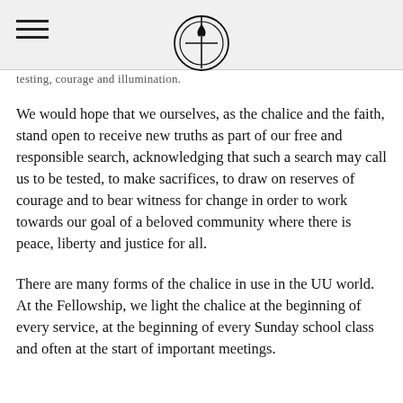testing, courage and illumination.
We would hope that we ourselves, as the chalice and the faith, stand open to receive new truths as part of our free and responsible search, acknowledging that such a search may call us to be tested, to make sacrifices, to draw on reserves of courage and to bear witness for change in order to work towards our goal of a beloved community where there is peace, liberty and justice for all.
There are many forms of the chalice in use in the UU world. At the Fellowship, we light the chalice at the beginning of every service, at the beginning of every Sunday school class and often at the start of important meetings.